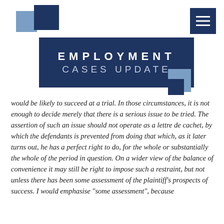EMPLOYMENT CASES UPDATE
would be likely to succeed at a trial. In those circumstances, it is not enough to decide merely that there is a serious issue to be tried. The assertion of such an issue should not operate as a lettre de cachet, by which the defendants is prevented from doing that which, as it later turns out, he has a perfect right to do, for the whole or substantially the whole of the period in question. On a wider view of the balance of convenience it may still be right to impose such a restraint, but not unless there has been some assessment of the plaintiff's prospects of success. I would emphasise "some assessment", because